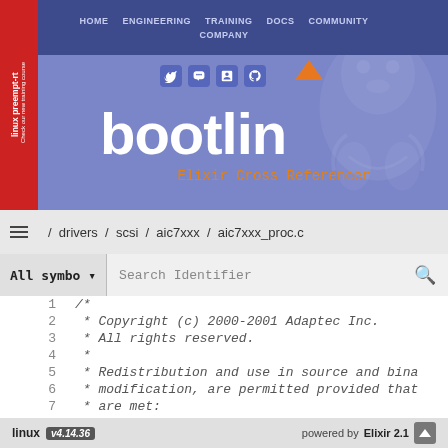[Figure (screenshot): Bootlin website header with navigation bar (HOME, ENGINEERING, TRAINING, DOCS, COMMUNITY, COMPANY), red sidebar with 'linux preempt-rt' training course label, Bootlin logo in white text, social media icons, orange arrow graphic, Tux ghost watermark, and 'Elixir Cross Referencer' subtitle in orange monospace text]
/ drivers / scsi / aic7xxx / aic7xxx_proc.c
All symbo  Search Identifier
1    /*
2     * Copyright (c) 2000-2001 Adaptec Inc.
3     * All rights reserved.
4     *
5     * Redistribution and use in source and bina
6     * modification, are permitted provided that
7     * are met:
8     * 1. Redistri...
linux  v4.14.36   powered by  Elixir 2.1